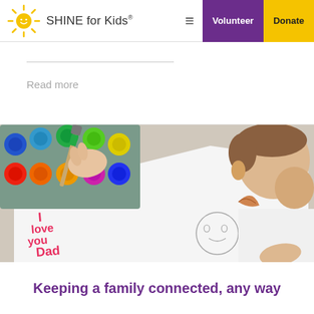SHINE for Kids — Volunteer | Donate
Read more
[Figure (photo): Child painting a card that reads 'I love you Dad' with colorful paint set and a drawing of faces, using a paintbrush]
Keeping a family connected, any way